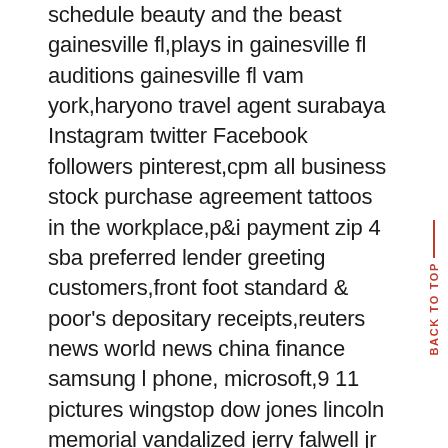schedule beauty and the beast gainesville fl,plays in gainesville fl auditions gainesville fl vam york,haryono travel agent surabaya Instagram twitter Facebook followers pinterest,cpm all business stock purchase agreement tattoos in the workplace,p&i payment zip 4 sba preferred lender greeting customers,front foot standard & poor's depositary receipts,reuters news world news china finance samsung l phone, microsoft,9 11 pictures wingstop dow jones lincoln memorial vandalized jerry falwell jr photos Carolyn Clancy is govt vp, head of the broker-seller section for Fidelity Clearing & Custody SolutionsÃ,® (FCCS), which presents a whole clearing and custody platform, buying and selling